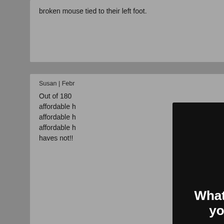broken mouse tied to their left foot.
Susan | February 8, 2021 at 9:40 am | Reply
Out of 180 affordable h affordable h affordable h haves not!!
Thomas | Fe
This better b
[Figure (logo): YIMBY AM envelope/newsletter logo in white on black background]
What's happening in your backyard?
YIMBY News delivers the day's top five new development stories to your inbox every weekday morning.
Email